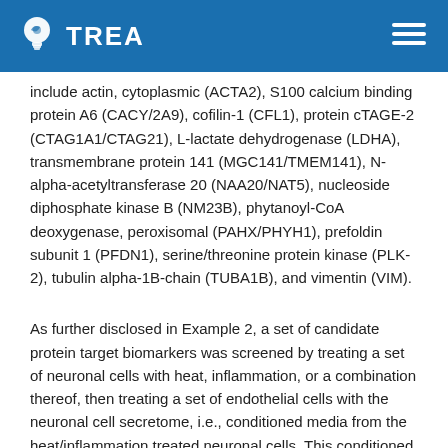TREA
include actin, cytoplasmic (ACTA2), S100 calcium binding protein A6 (CACY/2A9), cofilin-1 (CFL1), protein cTAGE-2 (CTAG1A1/CTAG21), L-lactate dehydrogenase (LDHA), transmembrane protein 141 (MGC141/TMEM141), N-alpha-acetyltransferase 20 (NAA20/NAT5), nucleoside diphosphate kinase B (NM23B), phytanoyl-CoA deoxygenase, peroxisomal (PAHX/PHYH1), prefoldin subunit 1 (PFDN1), serine/threonine protein kinase (PLK-2), tubulin alpha-1B-chain (TUBA1B), and vimentin (VIM).
As further disclosed in Example 2, a set of candidate protein target biomarkers was screened by treating a set of neuronal cells with heat, inflammation, or a combination thereof, then treating a set of endothelial cells with the neuronal cell secretome, i.e., conditioned media from the heat/inflammation treated neuronal cells. This conditioned media contains neuronal protein and non-protein stress factors that exhibit